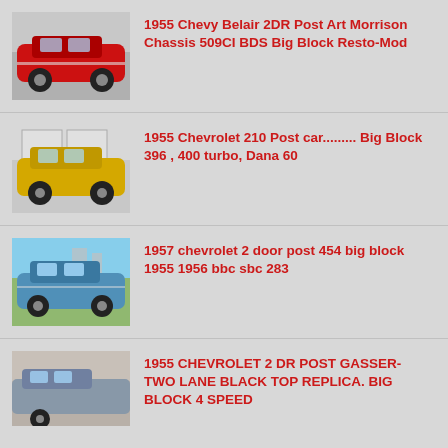[Figure (photo): Red 1955 Chevrolet Bel Air 2-door classic car, custom resto-mod, parked in garage]
1955 Chevy Belair 2DR Post Art Morrison Chassis 509CI BDS Big Block Resto-Mod
[Figure (photo): Yellow 1955 Chevrolet 210 Post car, parked in garage]
1955 Chevrolet 210 Post car......... Big Block 396 , 400 turbo, Dana 60
[Figure (photo): Blue 1957 Chevrolet 2-door post car parked outside on grass]
1957 chevrolet 2 door post 454 big block 1955 1956 bbc sbc 283
[Figure (photo): Partial view of a classic car, 1955 Chevrolet 2 DR Post Gasser]
1955 CHEVROLET 2 DR POST GASSER- TWO LANE BLACK TOP REPLICA. BIG BLOCK 4 SPEED